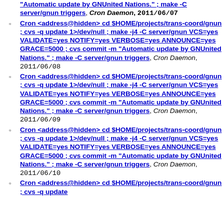Cron <address@hidden> cd $HOME/projects/trans-coord/gnun ; cvs -q update 1>/dev/null ; make -j4 -C server/gnun VCS=yes VALIDATE=yes NOTIFY=yes VERBOSE=yes ANNOUNCE=yes GRACE=5000 ; cvs commit -m "Automatic update by GNUnited Nations." ; make -C server/gnun triggers, Cron Daemon, 2011/06/07 (partial, top)
Cron <address@hidden> cd $HOME/projects/trans-coord/gnun ; cvs -q update 1>/dev/null ; make -j4 -C server/gnun VCS=yes VALIDATE=yes NOTIFY=yes VERBOSE=yes ANNOUNCE=yes GRACE=5000 ; cvs commit -m "Automatic update by GNUnited Nations." ; make -C server/gnun triggers, Cron Daemon, 2011/06/08
Cron <address@hidden> cd $HOME/projects/trans-coord/gnun ; cvs -q update 1>/dev/null ; make -j4 -C server/gnun VCS=yes VALIDATE=yes NOTIFY=yes VERBOSE=yes ANNOUNCE=yes GRACE=5000 ; cvs commit -m "Automatic update by GNUnited Nations." ; make -C server/gnun triggers, Cron Daemon, 2011/06/09
Cron <address@hidden> cd $HOME/projects/trans-coord/gnun ; cvs -q update 1>/dev/null ; make -j4 -C server/gnun VCS=yes VALIDATE=yes NOTIFY=yes VERBOSE=yes ANNOUNCE=yes GRACE=5000 ; cvs commit -m "Automatic update by GNUnited Nations." ; make -C server/gnun triggers, Cron Daemon, 2011/06/10
Cron <address@hidden> cd $HOME/projects/trans-coord/gnun ; cvs -q update (partial, bottom)